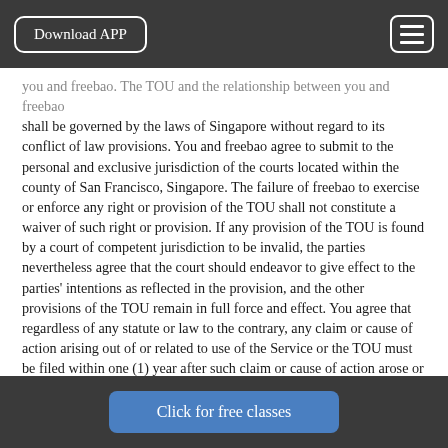Download APP | [menu]
you and freebao. The TOU and the relationship between you and freebao shall be governed by the laws of Singapore without regard to its conflict of law provisions. You and freebao agree to submit to the personal and exclusive jurisdiction of the courts located within the county of San Francisco, Singapore. The failure of freebao to exercise or enforce any right or provision of the TOU shall not constitute a waiver of such right or provision. If any provision of the TOU is found by a court of competent jurisdiction to be invalid, the parties nevertheless agree that the court should endeavor to give effect to the parties' intentions as reflected in the provision, and the other provisions of the TOU remain in full force and effect. You agree that regardless of any statute or law to the contrary, any claim or cause of action arising out of or related to use of the Service or the TOU must be filed within one (1) year after such claim or cause of action arose or be forever barred.
18. VIOLATION OF TERMS AND LIQUIDATED DAMAGES
Please report any violations of the TOU, by flagging the posting(s) for review, or by emailing to: info@freebao.com.
Click for free classes